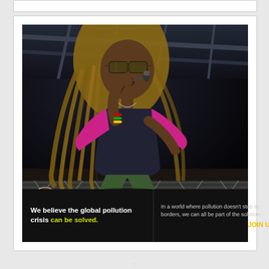[Figure (photo): Concert photo of a reggae/dreadlock performer (Mighty Mystic) singing into a microphone on stage, wearing sunglasses, pink sleeves, dark top, and green pants, performing energetically on stage with stage lights visible at the bottom. The name 'MIGHTY MYSTIC' appears in pink text on a dark bar at the bottom of the photo.]
[Figure (infographic): Pure Earth advertisement banner with black background. Left section (white text): 'We believe the global pollution crisis can be solved.' with 'can be solved.' in yellow-green. Middle section (grey text): 'In a world where pollution doesn't stop at borders, we can all be part of the solution.' with 'JOIN US.' in yellow at bottom right. Right section: Pure Earth logo with diamond/triangle icon in orange/yellow/green and 'PURE EARTH' in bold black text on white background.]